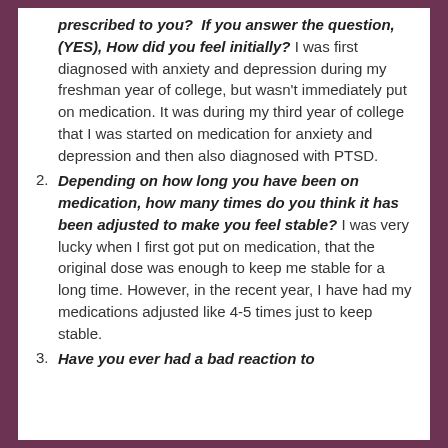prescribed to you? If you answer the question, (YES), How did you feel initially? I was first diagnosed with anxiety and depression during my freshman year of college, but wasn't immediately put on medication. It was during my third year of college that I was started on medication for anxiety and depression and then also diagnosed with PTSD.
2. Depending on how long you have been on medication, how many times do you think it has been adjusted to make you feel stable? I was very lucky when I first got put on medication, that the original dose was enough to keep me stable for a long time. However, in the recent year, I have had my medications adjusted like 4-5 times just to keep stable.
3. Have you ever had a bad reaction to